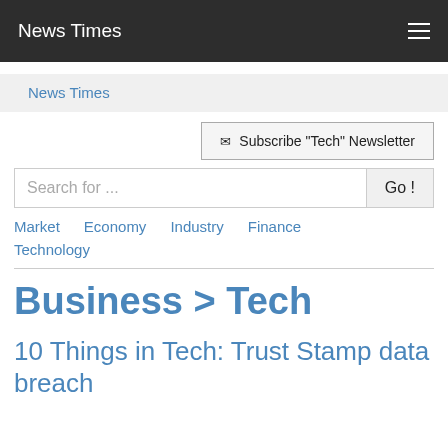News Times
News Times
✉  Subscribe "Tech" Newsletter
Search for ...
Market
Economy
Industry
Finance
Technology
Business > Tech
10 Things in Tech: Trust Stamp data breach